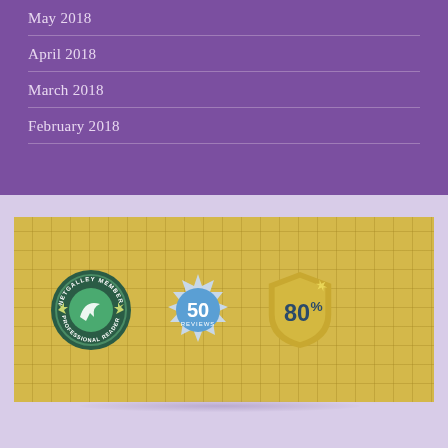May 2018
April 2018
March 2018
February 2018
[Figure (logo): Three badges on a yellow grid background: NetGalley Member Professional Reader circular badge, a '50 Reviews' circular badge, and an '80%' shield badge.]